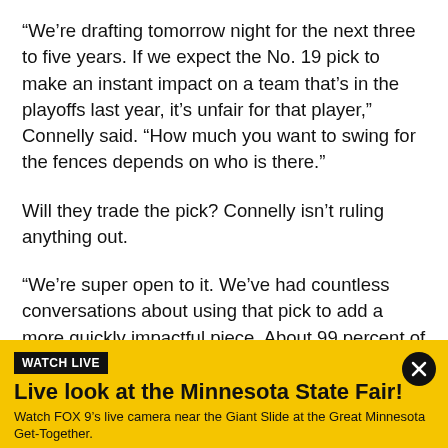“We’re drafting tomorrow night for the next three to five years. If we expect the No. 19 pick to make an instant impact on a team that’s in the playoffs last year, it’s unfair for that player,” Connelly said. “How much you want to swing for the fences depends on who is there.”
Will they trade the pick? Connelly isn’t ruling anything out.
“We’re super open to it. We’ve had countless conversations about using that pick to add a more quickly impactful piece. About 99 percent of those
[Figure (infographic): Yellow banner advertisement: WATCH LIVE badge in black, title 'Live look at the Minnesota State Fair!' in bold black, subtitle 'Watch FOX 9’s live camera near the Giant Slide at the Great Minnesota Get-Together.' with a black circular close button with X on the right.]